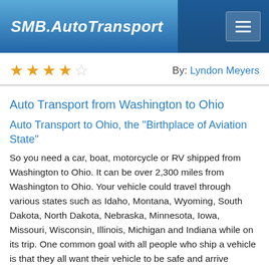SMB.AutoTransport
★★★★☆  By: Lyndon Meyers
Auto Transport from Washington to Ohio
Auto Transport to Ohio, the "Birthplace of Aviation State"
So you need a car, boat, motorcycle or RV shipped from Washington to Ohio. It can be over 2,300 miles from Washington to Ohio. Your vehicle could travel through various states such as Idaho, Montana, Wyoming, South Dakota, North Dakota, Nebraska, Minnesota, Iowa, Missouri, Wisconsin, Illinois, Michigan and Indiana while on its trip. One common goal with all people who ship a vehicle is that they all want their vehicle to be safe and arrive unharmed. If you are relocating, and this will be your